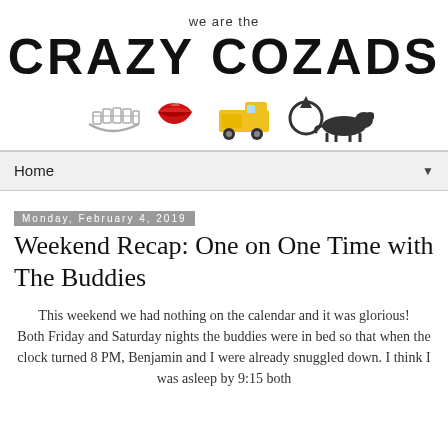we are the CRAZY COZADS
[Figure (logo): Blog logo with marquee-style bold letters 'CRAZY COZADS', subtitle 'we are the', and icon row with braces, lips, dump truck, ring, and dachshund]
Home
Monday, February 4, 2019
Weekend Recap: One on One Time with The Buddies
This weekend we had nothing on the calendar and it was glorious! Both Friday and Saturday nights the buddies were in bed so that when the clock turned 8 PM, Benjamin and I were already snuggled down. I think I was asleep by 9:15 both